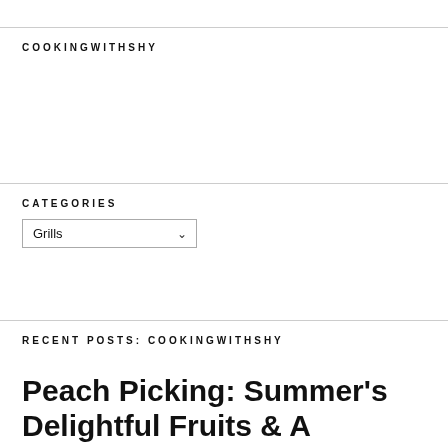COOKINGWITHSHY
CATEGORIES
[Figure (other): Dropdown select UI element with 'Grills' option and chevron arrow]
RECENT POSTS: COOKINGWITHSHY
Peach Picking: Summer's Delightful Fruits & A